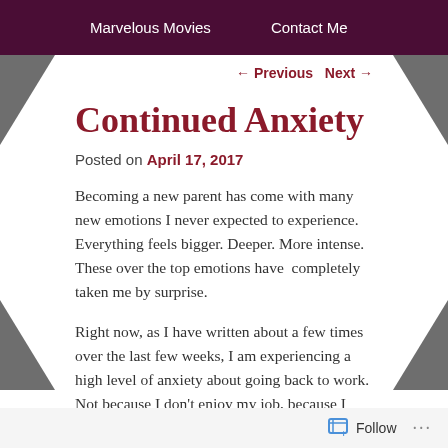Marvelous Movies   Contact Me
← Previous   Next →
Continued Anxiety
Posted on April 17, 2017
Becoming a new parent has come with many new emotions I never expected to experience. Everything feels bigger. Deeper. More intense. These over the top emotions have  completely taken me by surprise.
Right now, as I have written about a few times over the last few weeks, I am experiencing a high level of anxiety about going back to work. Not because I don't enjoy my job, because I love my job, but because I am anxious